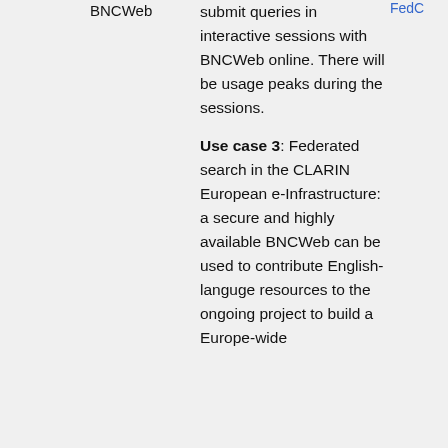|  | BNCWeb | submit queries in interactive sessions with BNCWeb online. There will be usage peaks during the sessions.

Use case 3: Federated search in the CLARIN European e-Infrastructure: a secure and highly available BNCWeb can be used to contribute English-languge resources to the ongoing project to build a Europe-wide | FedC... |